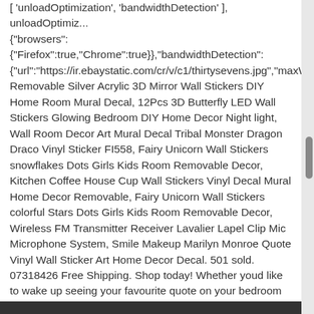[ 'unloadOptimization', 'bandwidthDetection' ], unloadOptimiz... {"browsers": {"Firefox":true,"Chrome":true}},"bandwidthDetection": {"url":"https://ir.ebaystatic.com/cr/v/c1/thirtysevens.jpg","maxW... Removable Silver Acrylic 3D Mirror Wall Stickers DIY Home Room Mural Decal, 12Pcs 3D Butterfly LED Wall Stickers Glowing Bedroom DIY Home Decor Night light, Wall Room Decor Art Mural Decal Tribal Monster Dragon Draco Vinyl Sticker FI558, Fairy Unicorn Wall Stickers snowflakes Dots Girls Kids Room Removable Decor, Kitchen Coffee House Cup Wall Stickers Vinyl Decal Mural Home Decor Removable, Fairy Unicorn Wall Stickers colorful Stars Dots Girls Kids Room Removable Decor, Wireless FM Transmitter Receiver Lavalier Lapel Clip Mic Microphone System, Smile Makeup Marilyn Monroe Quote Vinyl Wall Sticker Art Home Decor Decal. 501 sold. 07318426 Free Shipping. Shop today! Whether youd like to wake up seeing your favourite quote on your bedroom wall or want to add some of your childs favourite cartoon characters to their wall, youll find an incredible choice of sizes and colours